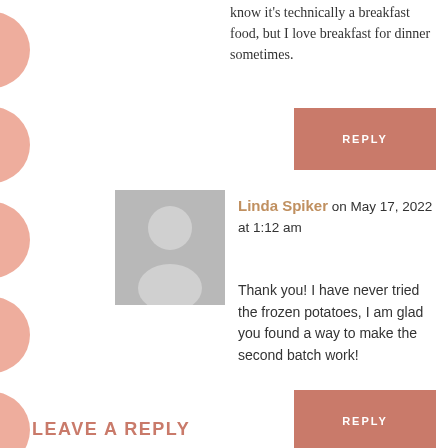know it’s technically a breakfast food, but I love breakfast for dinner sometimes.
[Figure (other): Salmon-colored reply button]
[Figure (photo): Gray avatar placeholder with silhouette of a person]
Linda Spiker on May 17, 2022 at 1:12 am
Thank you! I have never tried the frozen potatoes, I am glad you found a way to make the second batch work!
[Figure (other): Salmon-colored reply button]
LEAVE A REPLY